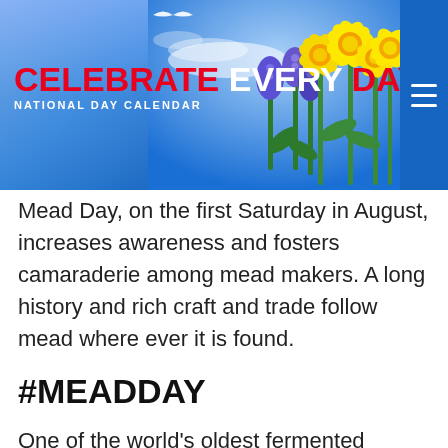[Figure (illustration): Website header banner for 'Celebrate Every Day – National Day Calendar' with blue sky background, flowers (daffodils, muscari) on the right, red and white logo text on the left, and a hamburger menu icon on the far right.]
Mead Day, on the first Saturday in August, increases awareness and fosters camaraderie among mead makers. A long history and rich craft and trade follow mead where ever it is found.
#MEADDAY
One of the world's oldest fermented beverages, mead is also called honey wine, ambrosia, or nectar. A craftsman combines honey, water, and yeast to make mead. With honey production in